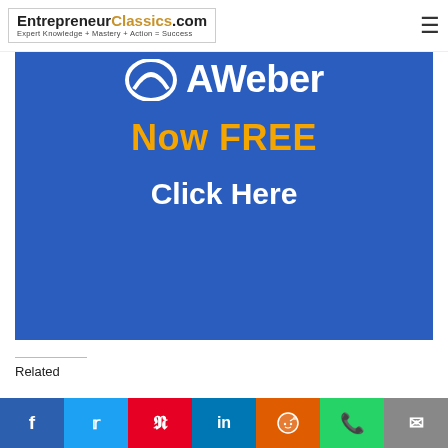EntrepreneurClassics.com — Expert Knowledge + Mastery + Action = Success
[Figure (advertisement): AWeber promotional banner on blue background. Shows AWeber logo (white icon + text), 'Now FREE' in orange bold text, and 'Click Here' in white bold text.]
Related
[Figure (infographic): Social sharing bar with Facebook (blue), Twitter (light blue), Pinterest (red), LinkedIn (dark blue), Reddit (orange), WhatsApp (green), and Email (grey) buttons.]